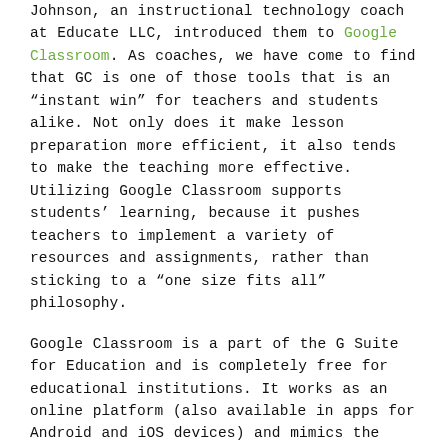Johnson, an instructional technology coach at Educate LLC, introduced them to Google Classroom. As coaches, we have come to find that GC is one of those tools that is an “instant win” for teachers and students alike. Not only does it make lesson preparation more efficient, it also tends to make the teaching more effective. Utilizing Google Classroom supports students’ learning, because it pushes teachers to implement a variety of resources and assignments, rather than sticking to a “one size fits all” philosophy.
Google Classroom is a part of the G Suite for Education and is completely free for educational institutions. It works as an online platform (also available in apps for Android and iOS devices) and mimics the setup of an online course. Teachers can post classroom announcements, assignments, questions, etc.. In turn, students can utilize it as a “one stop shop” for all of their classroom resources. In conjunction with other Google Apps, such as Google Docs and Google Slides, GC allows students to work on assignments in and out of the classroom.